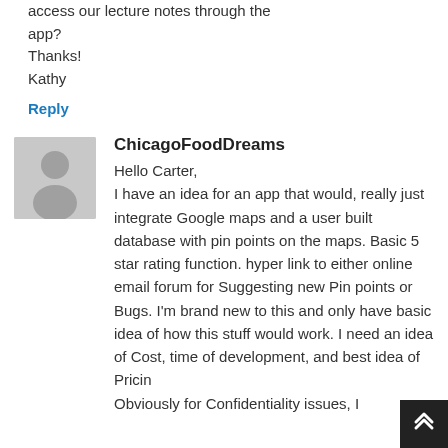access our lecture notes through the app?
Thanks!
Kathy
Reply
[Figure (illustration): Gray placeholder avatar icon with silhouette of a person]
ChicagoFoodDreams
Hello Carter,
I have an idea for an app that would, really just integrate Google maps and a user built database with pin points on the maps. Basic 5 star rating function. hyper link to either online email forum for Suggesting new Pin points or Bugs. I'm brand new to this and only have basic idea of how this stuff would work. I need an idea of Cost, time of development, and best idea of Pricing Obviously for Confidentiality issues, I